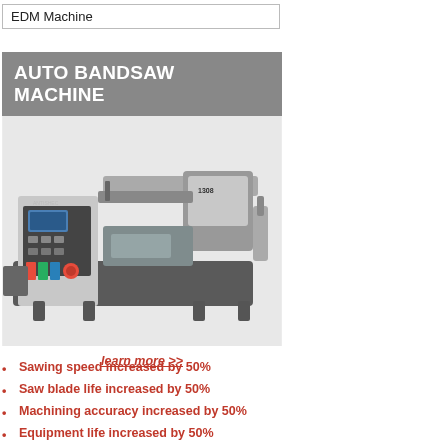EDM Machine
[Figure (photo): Auto Bandsaw Machine product photo showing a large industrial bandsaw machine with control panel, digital display, and red emergency stop button. The machine is grey and black. Title bar reads AUTO BANDSAW MACHINE. Below the photo is a 'learn more >>' link in italic red text.]
Sawing speed increased by 50%
Saw blade life increased by 50%
Machining accuracy increased by 50%
Equipment life increased by 50%